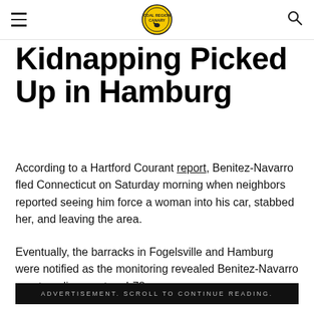Coal Region Canary (logo) | hamburger menu | search icon
Kidnapping Picked Up in Hamburg
According to a Hartford Courant report, Benitez-Navarro fled Connecticut on Saturday morning when neighbors reported seeing him force a woman into his car, stabbed her, and leaving the area.
Eventually, the barracks in Fogelsville and Hamburg were notified as the monitoring revealed Benitez-Navarro was traveling west on I-78.
ADVERTISEMENT. SCROLL TO CONTINUE READING.